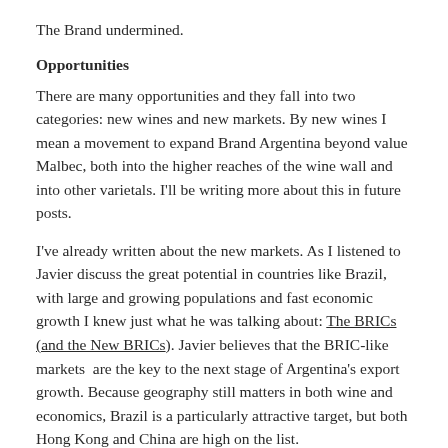The Brand undermined.
Opportunities
There are many opportunities and they fall into two categories: new wines and new markets. By new wines I mean a movement to expand Brand Argentina beyond value Malbec, both into the higher reaches of the wine wall and into other varietals. I'll be writing more about this in future posts.
I've already written about the new markets. As I listened to Javier discuss the great potential in countries like Brazil, with large and growing populations and fast economic growth I knew just what he was talking about: The BRICs (and the New BRICs). Javier believes that the BRIC-like markets  are the key to the next stage of Argentina's export growth. Because geography still matters in both wine and economics, Brazil is a particularly attractive target, but both Hong Kong and China are high on the list.